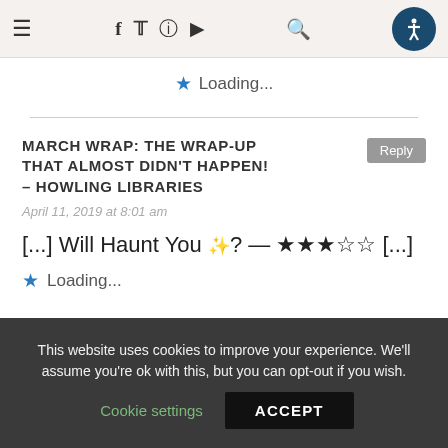≡  f  𝕏  ⊙  ▶  🔍  [accessibility icon]
★ Loading...
MARCH WRAP: THE WRAP-UP THAT ALMOST DIDN'T HAPPEN! – HOWLING LIBRARIES
April 11, 2019 at 8:01 am
[...] Will Haunt You ✨? — ★★★☆☆ [...]
★ Loading...
This website uses cookies to improve your experience. We'll assume you're ok with this, but you can opt-out if you wish.
Cookie settings   ACCEPT